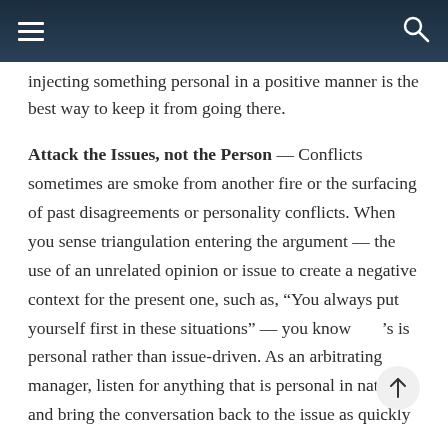Navigation bar with hamburger menu and search icon
injecting something personal in a positive manner is the best way to keep it from going there.
Attack the Issues, not the Person — Conflicts sometimes are smoke from another fire or the surfacing of past disagreements or personality conflicts. When you sense triangulation entering the argument — the use of an unrelated opinion or issue to create a negative context for the present one, such as, “You always put yourself first in these situations” — you know it’s is personal rather than issue-driven. As an arbitrating manager, listen for anything that is personal in nature and bring the conversation back to the issue as quickly